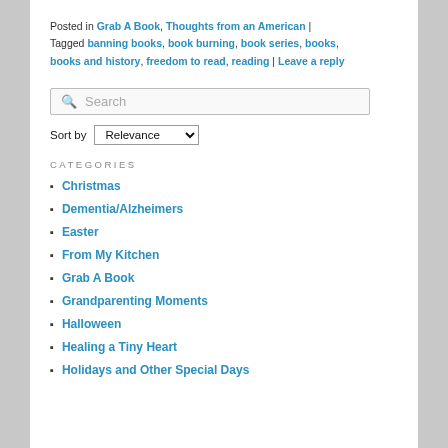Posted in Grab A Book, Thoughts from an American | Tagged banning books, book burning, book series, books, books and history, freedom to read, reading | Leave a reply
[Figure (other): Search box widget with magnifying glass icon and placeholder text 'Search']
Sort by Relevance
CATEGORIES
Christmas
Dementia/Alzheimers
Easter
From My Kitchen
Grab A Book
Grandparenting Moments
Halloween
Healing a Tiny Heart
Holidays and Other Special Days